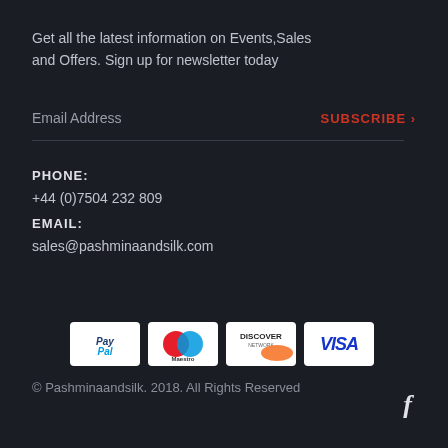Get all the latest information on Events,Sales and Offers. Sign up for newsletter today
Email Address
SUBSCRIBE >
PHONE:
+44 (0)7504 232 809
EMAIL:
sales@pashminaandsilk.com
[Figure (logo): Payment method logos: PayPal, Maestro, Discover Network, Visa]
© Pashminaandsilk. 2018. All Rights Reserved